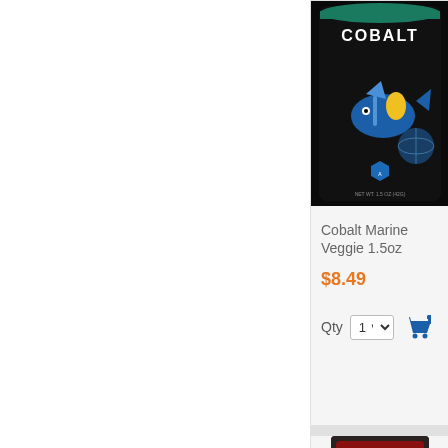[Figure (photo): Cobalt Marine Veggie fish food product can with dark label showing tropical fish, teal lid]
Cobalt Marine Veggie 1.5oz
$8.49
Qty 1
[Figure (photo): Dark digital timer/feeder device showing 13:45 on LCD display]